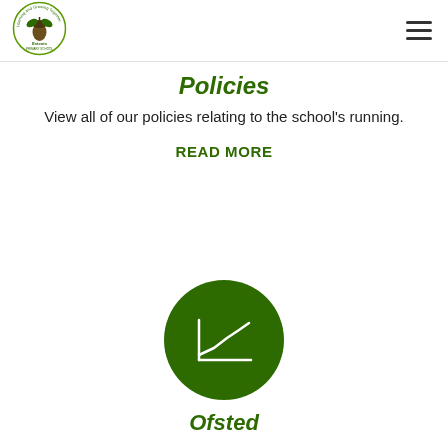[Figure (logo): Learning and Growing Together Estcots primary school logo — circular badge with acorn and oak leaves in green]
[Figure (illustration): Partial circular grey icon visible at top center of page (cropped, scrolled content)]
[Figure (illustration): Hamburger menu icon (three horizontal lines) at top right]
Policies
View all of our policies relating to the school’s running.
READ MORE
[Figure (illustration): Dark green circle icon with a white line chart / graph symbol inside]
Ofsted